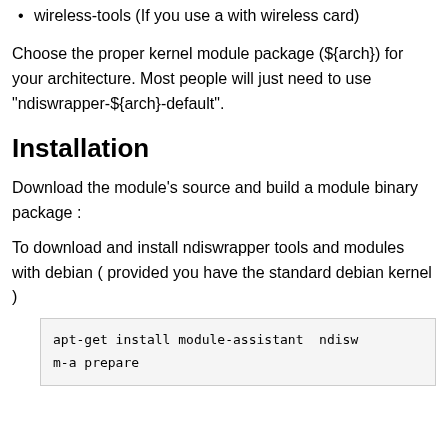wireless-tools (If you use a with wireless card)
Choose the proper kernel module package (${arch}) for your architecture. Most people will just need to use "ndiswrapper-${arch}-default".
Installation
Download the module's source and build a module binary package :
To download and install ndiswrapper tools and modules with debian ( provided you have the standard debian kernel )
apt-get install module-assistant  ndisw
m-a prepare